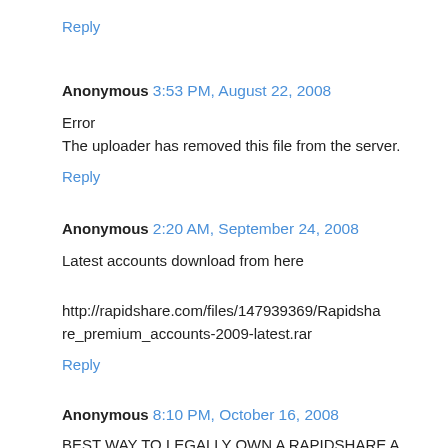Reply
Anonymous 3:53 PM, August 22, 2008
Error
The uploader has removed this file from the server.
Reply
Anonymous 2:20 AM, September 24, 2008
Latest accounts download from here
http://rapidshare.com/files/147939369/Rapidshare_premium_accounts-2009-latest.rar
Reply
Anonymous 8:10 PM, October 16, 2008
BEST WAY TO LEGALLY OWN A RAPIDSHARE A...